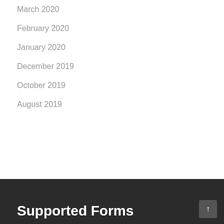March 2020
February 2020
January 2020
December 2019
October 2019
August 2019
Supported Forms